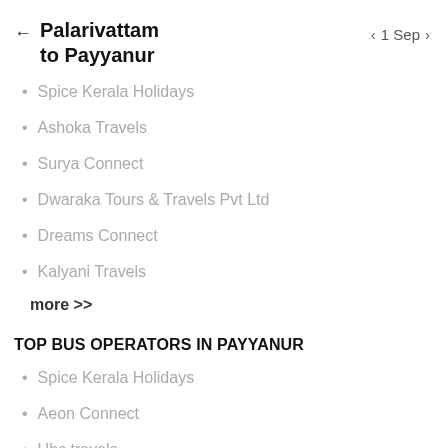← Palarivattam to Payyanur   < 1 Sep >
Spice Kerala Holidays
Ashoka Travels
Surya Connect
Dwaraka Tours & Travels Pvt Ltd
Dreams Connect
Kalyani Travels
more >>
TOP BUS OPERATORS IN PAYYANUR
Spice Kerala Holidays
Aeon Connect
Ubc travels
Asian Travelink